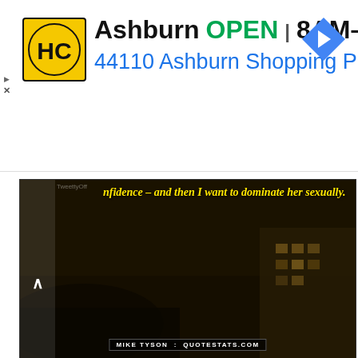[Figure (screenshot): Advertisement banner for Halal Chicken (HC) restaurant in Ashburn. Shows HC logo (yellow circle with HC letters on black background), text: Ashburn OPEN 8AM–7PM, 44110 Ashburn Shopping Plaza 1. Navigation arrow icon on right. Small play and X buttons on far left edge.]
[Figure (screenshot): Dark video screenshot with yellow italic text quote overlay reading 'nfidence – and then I want to dominate her sexually.' with a 'MIKE TYSON : QUOTESTATS.COM' credit badge. Left side has an up-chevron expand button. Watermark visible top left corner.]